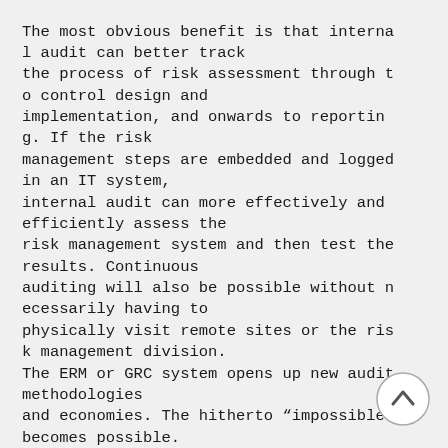The most obvious benefit is that internal audit can better track the process of risk assessment through to control design and implementation, and onwards to reporting. If the risk management steps are embedded and logged in an IT system, internal audit can more effectively and efficiently assess the risk management system and then test the results. Continuous auditing will also be possible without necessarily having to physically visit remote sites or the risk management division. The ERM or GRC system opens up new audit methodologies and economies. The hitherto “impossible” becomes possible. When internal audit has more than one hundred branches or technical entities to audit, knowing you have a system which requires and